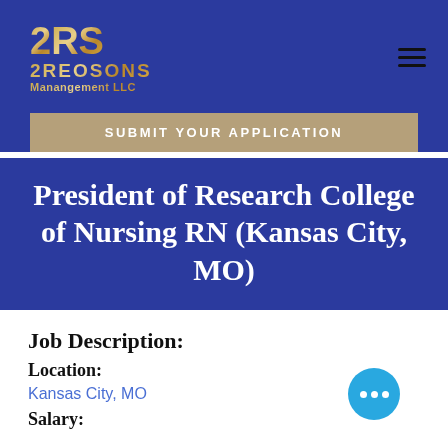[Figure (logo): 2RS 2Reosons Management LLC logo in gold/bronze gradient text on dark blue background]
SUBMIT YOUR APPLICATION
President of Research College of Nursing RN (Kansas City, MO)
Job Description:
Location:
Kansas City, MO
Salary: